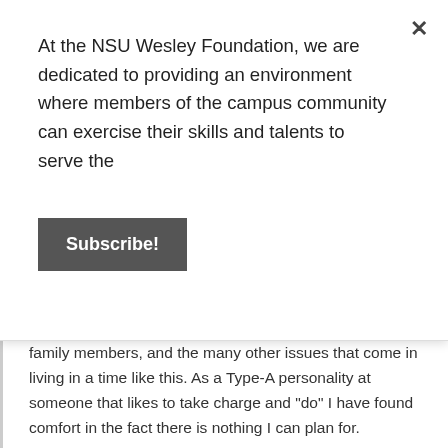At the NSU Wesley Foundation, we are dedicated to providing an environment where members of the campus community can exercise their skills and talents to serve the
Subscribe!
family members, and the many other issues that come in living in a time like this. As a Type-A personality at someone that likes to take charge and “do” I have found comfort in the fact there is nothing I can plan for.
Every day is new and I have to take it as is, there is no way to slack off when you are forced to sit still. My small and probably meaningless advice to you is, enjoy life on a day to day basis as much as you can. Find joy in the stories of people coming together all over the world who are fighting to save lives, find a healthcare professional and tell them thank you. Most importantly, stay inside as much as possible, enjoy your rest, and use this unprecedented time